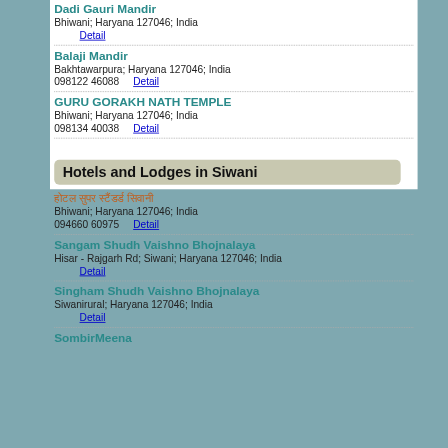Dadi Gauri Mandir
Bhiwani; Haryana 127046; India
Detail
Balaji Mandir
Bakhtawarpura; Haryana 127046; India
098122 46088    Detail
GURU GORAKH NATH TEMPLE
Bhiwani; Haryana 127046; India
098134 40038    Detail
Hotels and Lodges in Siwani
होटल सुपर स्टैंडर्ड सिवानी
Bhiwani; Haryana 127046; India
094660 60975    Detail
Sangam Shudh Vaishno Bhojnalaya
Hisar - Rajgarh Rd; Siwani; Haryana 127046; India
Detail
Singham Shudh Vaishno Bhojnalaya
Siwanirural; Haryana 127046; India
Detail
SombirMeena